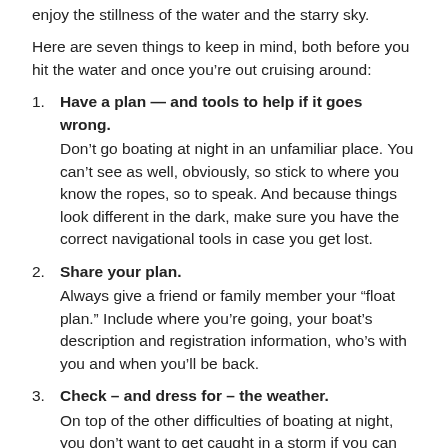enjoy the stillness of the water and the starry sky.
Here are seven things to keep in mind, both before you hit the water and once you’re out cruising around:
Have a plan — and tools to help if it goes wrong. Don’t go boating at night in an unfamiliar place. You can’t see as well, obviously, so stick to where you know the ropes, so to speak. And because things look different in the dark, make sure you have the correct navigational tools in case you get lost.
Share your plan. Always give a friend or family member your “float plan.” Include where you’re going, your boat’s description and registration information, who’s with you and when you’ll be back.
Check – and dress for – the weather. On top of the other difficulties of boating at night, you don’t want to get caught in a storm if you can help it.